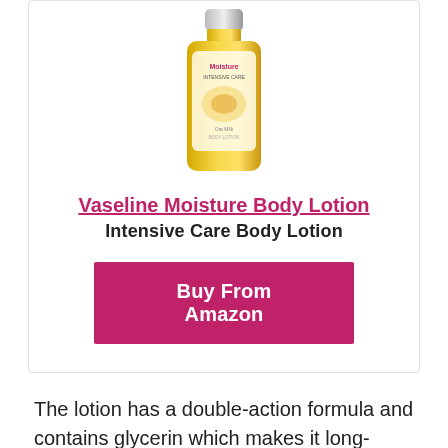[Figure (photo): Vaseline Intensive Care Moisture body lotion bottle, yellow/gold colored]
Vaseline Moisture Body Lotion
Intensive Care Body Lotion
Buy From Amazon
The lotion has a double-action formula and contains glycerin which makes it long-lasting and effective. It is fast-absorbing and makes you look fresh. The product contains the goodness of oats and is used